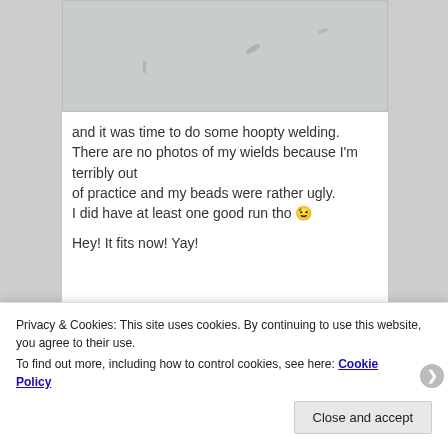[Figure (photo): Close-up photo of a light grey/white textured surface, possibly concrete or metal, with a few small dark marks or scratches visible.]
and it was time to do some hoopty welding.
There are no photos of my wields because I'm terribly out of practice and my beads were rather ugly.
I did have at least one good run tho 😉

Hey! It fits now! Yay!
[Figure (photo): Partial photo showing the interior of a vehicle, dark dashboard/ceiling area visible.]
Privacy & Cookies: This site uses cookies. By continuing to use this website, you agree to their use.
To find out more, including how to control cookies, see here: Cookie Policy